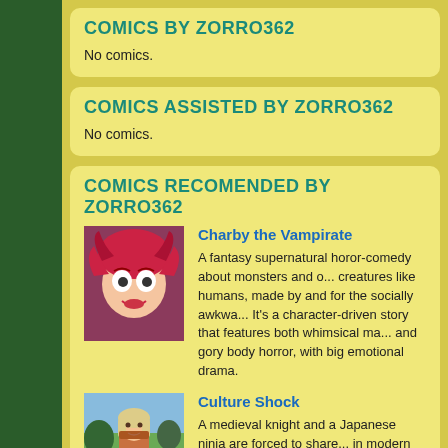COMICS BY ZORRO362
No comics.
COMICS ASSISTED BY ZORRO362
No comics.
COMICS RECOMENDED BY ZORRO362
Charby the Vampirate
A fantasy supernatural horor-comedy about monsters and other creatures like humans, made by and for the socially awkwa... It's a character-driven story that features both whimsical ma... and gory body horror, with big emotional drama.
[Figure (illustration): Thumbnail image of Charby the Vampirate comic showing a stylized character with pink/red hair and face markings]
Culture Shock
A medieval knight and a Japanese ninja are forced to share... in modern America. Can they achieve their missions withou... each other?
[Figure (illustration): Thumbnail image of Culture Shock comic showing a character in fantasy/medieval clothing]